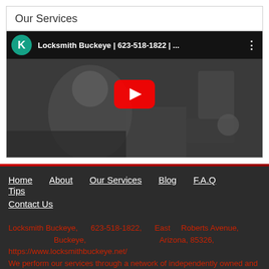Our Services
[Figure (screenshot): YouTube video thumbnail showing a locksmith working, with title 'Locksmith Buckeye | 623-518-1822 | ...' and a red play button in the center]
Home
About
Our Services
Blog
F.A.Q
Tips
Contact Us
Locksmith Buckeye, 623-518-1822, East Roberts Avenue, Buckeye, Arizona, 85326, https://www.locksmithbuckeye.net/
We perform our services through a network of independently owned and operated affiliates.